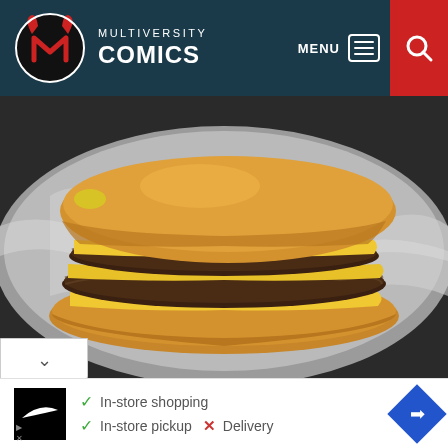Multiversity Comics — MENU
[Figure (photo): Close-up photo of a cheeseburger with two beef patties and melted American cheese on a brioche bun, wrapped in foil]
✓ In-store shopping
✓ In-store pickup  ✗ Delivery